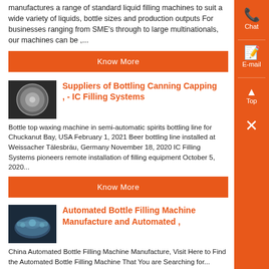manufactures a range of standard liquid filling machines to suit a wide variety of liquids, bottle sizes and production outputs For businesses ranging from SME's through to large multinationals, our machines can be ,...
Know More
[Figure (photo): Close-up photo of a round bottle cap or sealing element on dark background]
Suppliers of Bottling Canning Capping , - IC Filling Systems
Bottle top waxing machine in semi-automatic spirits bottling line for Chuckanut Bay, USA February 1, 2021 Beer bottling line installed at Weissacher Tälesbräu, Germany November 18, 2020 IC Filling Systems pioneers remote installation of filling equipment October 5, 2020...
Know More
[Figure (photo): Photo of automated bottle filling machine equipment, circular components visible]
Automated Bottle Filling Machine Manufacture and Automated ,
China Automated Bottle Filling Machine Manufacture, Visit Here to Find the Automated Bottle Filling Machine That You are Searching for...
Know More